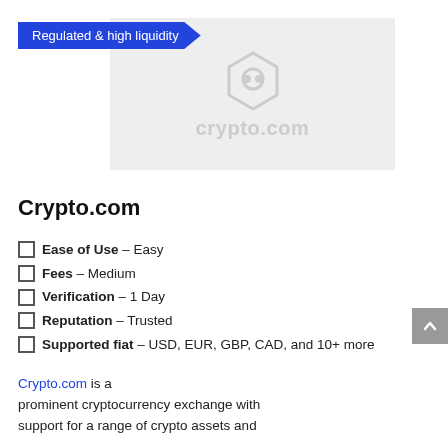[Figure (logo): Crypto.com logo on light gray background with badge/shield icon and website name]
Crypto.com
Ease of Use – Easy
Fees – Medium
Verification – 1 Day
Reputation – Trusted
Supported fiat – USD, EUR, GBP, CAD, and 10+ more
Crypto.com is a prominent cryptocurrency exchange with support for a range of crypto assets and